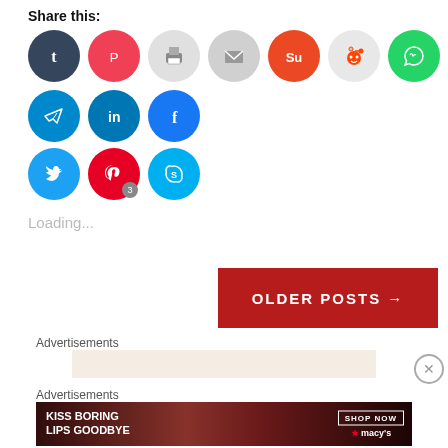Share this:
[Figure (infographic): Row of social media share buttons: Tumblr (dark blue), Pocket (red), Print (gray), Email (gray), StumbleUpon (orange), Reddit (light gray), WhatsApp (green), Telegram (blue), LinkedIn (blue), Facebook (blue)]
[Figure (infographic): Second row of social share buttons: Twitter (light blue), Pinterest (red, with badge '3'), Skype (sky blue)]
Loading...
OLDER POSTS →
Advertisements
Advertisements
[Figure (photo): Advertisement banner: KISS BORING LIPS GOODBYE with SHOP NOW button and Macy's logo, showing woman's lips with red lipstick]